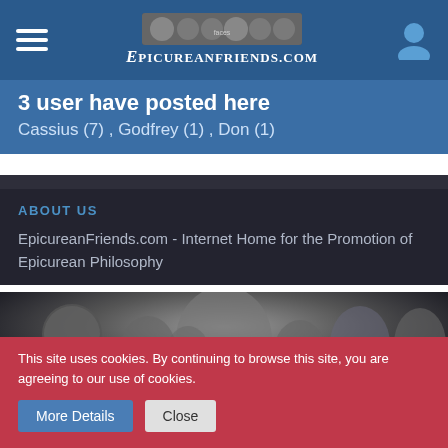[Figure (screenshot): Website navigation bar with hamburger menu icon on left, EpicureanFriends.com logo in center with historical faces, and user account icon on right]
3 user have posted here
Cassius (7) , Godfrey (1) , Don (1)
ABOUT US
EpicureanFriends.com - Internet Home for the Promotion of Epicurean Philosophy
[Figure (photo): EpicureanFriends.com hero banner image showing historical busts/portraits of philosophers in grayscale with the site name overlaid in large white bold text]
This site uses cookies. By continuing to browse this site, you are agreeing to our use of cookies.